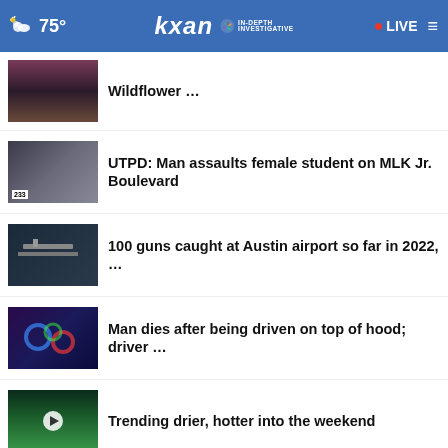75° | KXAN | IN-DEPTH INVESTIGATIVE | LIVE
Wildflower …
UTPD: Man assaults female student on MLK Jr. Boulevard
100 guns caught at Austin airport so far in 2022, …
Man dies after being driven on top of hood; driver …
Trending drier, hotter into the weekend
Austin neighbor groups take
PROFESSIONAL HOME CLEANING SERVICES | CONTACT US
Forensics lab will soon be independent